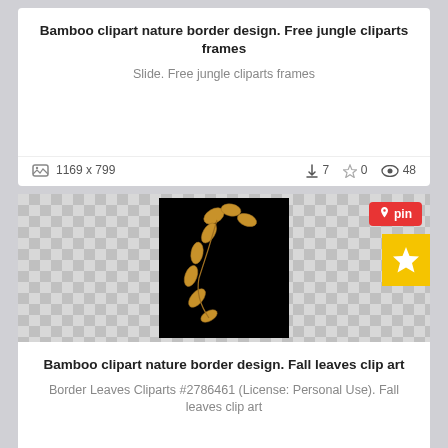Bamboo clipart nature border design. Free jungle cliparts frames
Slide. Free jungle cliparts frames
1169 x 799   ↓7  ☆0  👁 48
[Figure (illustration): Fall leaves clip art on black background with transparent checkerboard surround]
Bamboo clipart nature border design. Fall leaves clip art
Border Leaves Cliparts #2786461 (License: Personal Use). Fall leaves clip art
1686 x 2062   ↓1  ☆0  👁 25